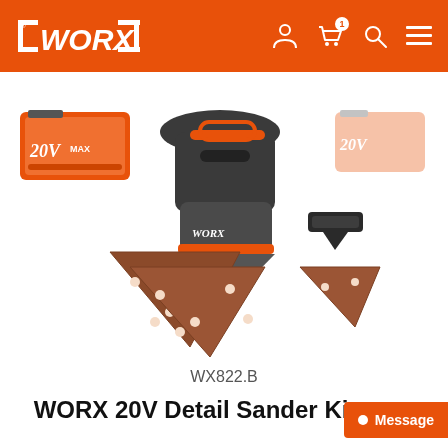WORX
[Figure (photo): WORX 20V Detail Sander Kit product photo showing the sander tool with orange and grey color scheme, two triangular sanding pads, a smaller detail attachment, battery pack, and accessories on white background]
WX822.B
WORX 20V Detail Sander Kit